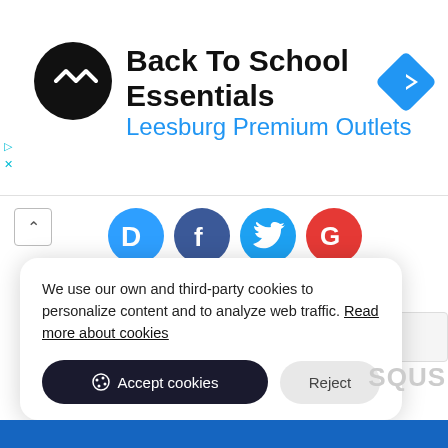[Figure (screenshot): Ad banner: Back To School Essentials at Leesburg Premium Outlets with logo and navigation icon]
[Figure (screenshot): Social login icons: Disqus (blue), Facebook (dark blue), Twitter (cyan), Google (red)]
OR SIGN UP WITH DISQUS
Name
We use our own and third-party cookies to personalize content and to analyze web traffic. Read more about cookies
Accept cookies
Reject